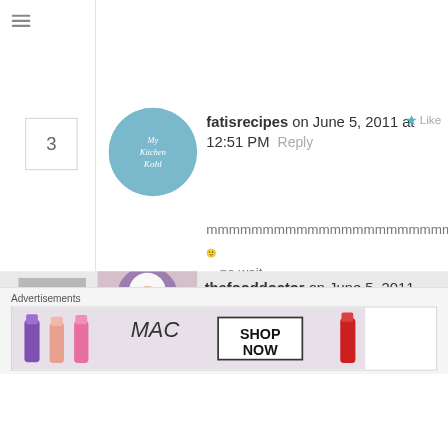[Figure (screenshot): Hamburger menu icon (three horizontal lines) in top left]
3
[Figure (illustration): Circular avatar with teal background and text 'My Kitchen Kohl' in white italic script]
fatisrecipes on June 5, 2011 at 12:51 PM  Reply  ★ Like
mmmmmmmmmmmmmmmmmmmmmm...
🙂
…no wait…
mmmmmmmmmmmmmmmmmmmmmm...
😀
4
[Figure (photo): Photo of a woman wearing a white and purple hijab]
thefooddoctor on June 5, 2011 at 6:48 PM  Reply  ★ Like
🙂
Advertisements
[Figure (screenshot): MAC cosmetics advertisement banner showing lipsticks and 'SHOP NOW' text]